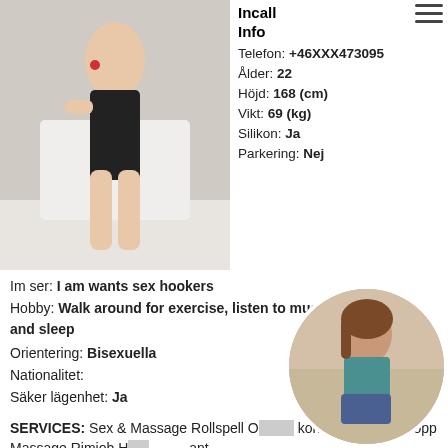[Figure (photo): Woman in black outfit posing in a bathroom setting]
Incall
Info
Telefon: +46XXX473095
Ålder: 22
Höjd: 168 (cm)
Vikt: 69 (kg)
Silikon: Ja
Parkering: Nej
Im ser: I am wants sex hookers
Hobby: Walk around for exercise, listen to music, and sleep
Orientering: Bisexuella
Nationalitet:
Säker lägenhet: Ja
SERVICES: Sex & Massage Rollspell O... kondom (OWO) Kropp Massage Rimjob H... ...ant Uniforms Pulla Sexleksaker Erfarenhet av flickvän
[Figure (photo): Woman in teal top and denim shorts, circular thumbnail]